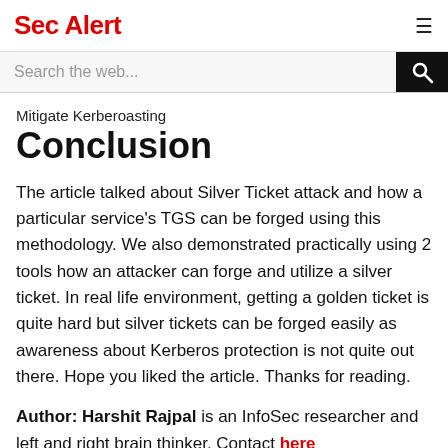Sec Alert
Search the web...
Mitigate Kerberoasting
Conclusion
The article talked about Silver Ticket attack and how a particular service's TGS can be forged using this methodology. We also demonstrated practically using 2 tools how an attacker can forge and utilize a silver ticket. In real life environment, getting a golden ticket is quite hard but silver tickets can be forged easily as awareness about Kerberos protection is not quite out there. Hope you liked the article. Thanks for reading.
Author: Harshit Rajpal is an InfoSec researcher and left and right brain thinker. Contact here